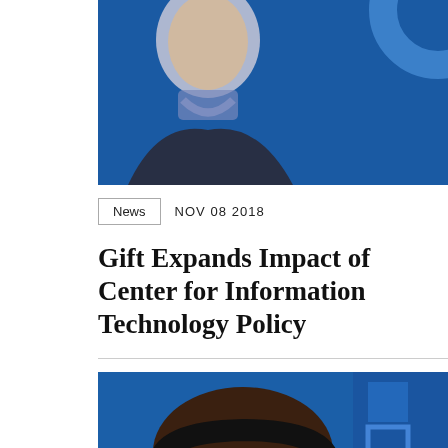[Figure (photo): Partial photo of a person (man) cropped at top, with blue background]
News   NOV 08 2018
Gift Expands Impact of Center for Information Technology Policy
[Figure (photo): Woman wearing headphones and glasses speaking into a microphone, blue background]